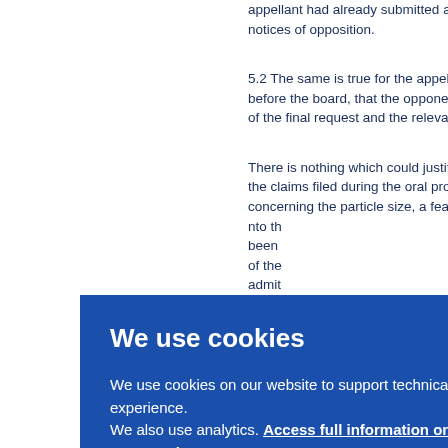appellant had already submitted and notices of opposition.
5.2 The same is true for the appellant's argument, raised before the board, that the opponent was informed of the final request and the relevant documents.
There is nothing which could justify the admission of the claims filed during the oral proceedings, concerning the particle size, a feature introduced into the proceedings, which has not been previously discussed in the context of the requests filed during the opposition. To admit into the oral proceedings before the board would apparently be contrary to the provisions of the EPC, as the claims have clearly have an improvement over the prior art. her p...
We use cookies

We use cookies on our website to support technical features that enhance your user experience.
We also use analytics. Access full information on cookies that we use and how to manage them

OK